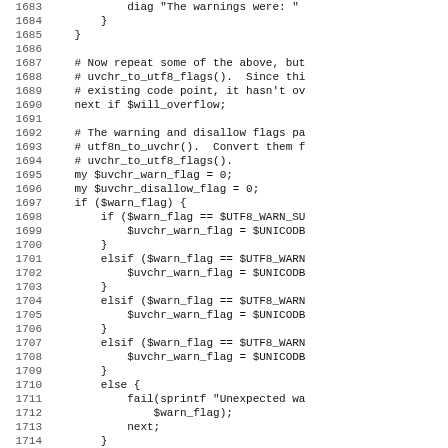Source code listing, lines 1683-1714, showing Perl code for UTF-8/Unicode flag conversion logic.